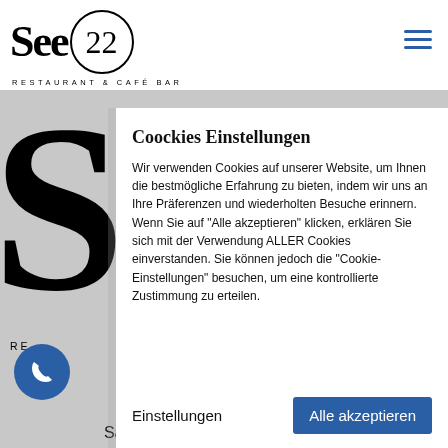[Figure (logo): See22 Restaurant & Café Bar logo with circular border around '22']
[Figure (other): Hamburger menu icon in blue]
[Figure (other): Large letter S background graphic from website]
RE
Coockies Einstellungen
Wir verwenden Cookies auf unserer Website, um Ihnen die bestmögliche Erfahrung zu bieten, indem wir uns an Ihre Präferenzen und wiederholten Besuche erinnern. Wenn Sie auf "Alle akzeptieren" klicken, erklären Sie sich mit der Verwendung ALLER Cookies einverstanden. Sie können jedoch die "Cookie-Einstellungen" besuchen, um eine kontrollierte Zustimmung zu erteilen.
Einstellungen
Alle akzeptieren
[Figure (other): Blue circle phone icon button]
Mo...
Samstag - Sonntag  10:00 - 23:00